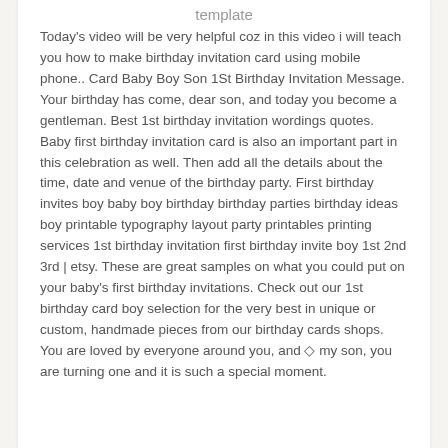template
Today's video will be very helpful coz in this video i will teach you how to make birthday invitation card using mobile phone.. Card Baby Boy Son 1St Birthday Invitation Message. Your birthday has come, dear son, and today you become a gentleman. Best 1st birthday invitation wordings quotes. Baby first birthday invitation card is also an important part in this celebration as well. Then add all the details about the time, date and venue of the birthday party. First birthday invites boy baby boy birthday birthday parties birthday ideas boy printable typography layout party printables printing services 1st birthday invitation first birthday invite boy 1st 2nd 3rd | etsy. These are great samples on what you could put on your baby's first birthday invitations. Check out our 1st birthday card boy selection for the very best in unique or custom, handmade pieces from our birthday cards shops. You are loved by everyone around you, and ◇ my son, you are turning one and it is such a special moment.